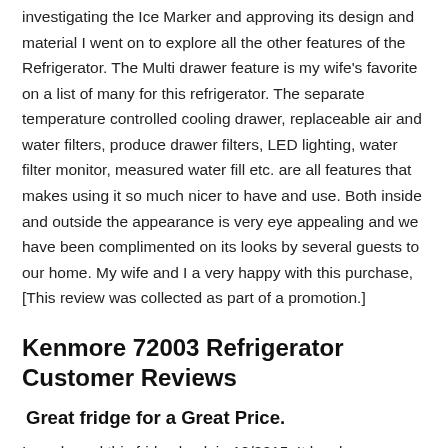investigating the Ice Marker and approving its design and material I went on to explore all the other features of the Refrigerator. The Multi drawer feature is my wife's favorite on a list of many for this refrigerator. The separate temperature controlled cooling drawer, replaceable air and water filters, produce drawer filters, LED lighting, water filter monitor, measured water fill etc. are all features that makes using it so much nicer to have and use. Both inside and outside the appearance is very eye appealing and we have been complimented on its looks by several guests to our home. My wife and I a very happy with this purchase, [This review was collected as part of a promotion.]
Kenmore 72003 Refrigerator Customer Reviews
Great fridge for a Great Price.
I purchased this fridge back in 12/2015. It has been over a year